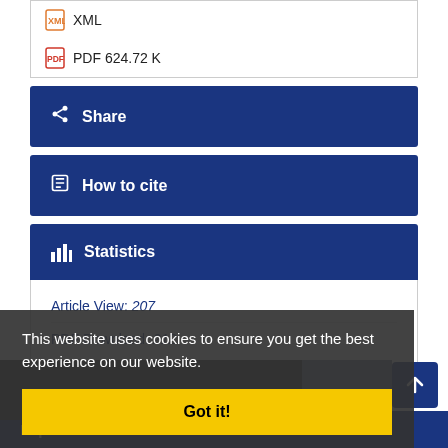XML
PDF 624.72 K
Share
How to cite
Statistics
Article View: 207
PDF Download: 212
This website uses cookies to ensure you get the best experience on our website.
Got it!
Explore Journal